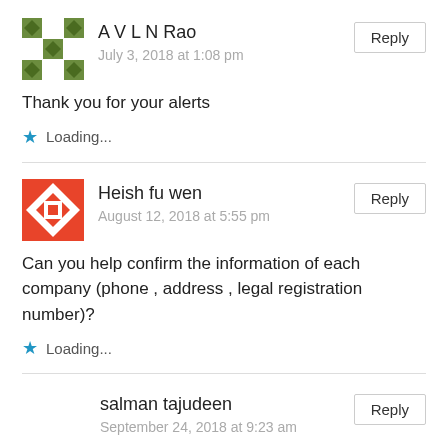[Figure (illustration): Green geometric avatar for A V L N Rao]
A V L N Rao
July 3, 2018 at 1:08 pm
Reply
Thank you for your alerts
Loading...
[Figure (illustration): Red geometric avatar for Heish fu wen]
Heish fu wen
August 12, 2018 at 5:55 pm
Reply
Can you help confirm the information of each company (phone , address , legal registration number)?
Loading...
salman tajudeen
September 24, 2018 at 9:23 am
Reply